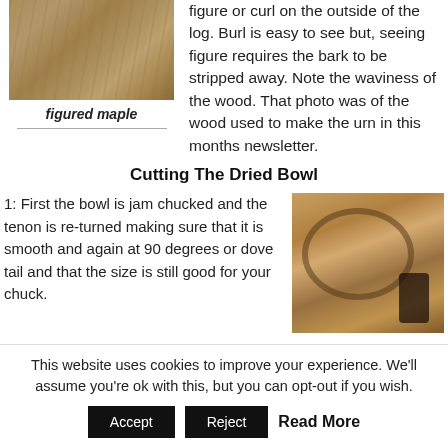[Figure (photo): Close-up photo of figured maple wood showing wavy grain pattern]
figured maple
figure or curl on the outside of the log. Burl is easy to see but, seeing figure requires the bark to be stripped away. Note the waviness of the wood. That photo was of the wood used to make the urn in this months newsletter.
Cutting The Dried Bowl
1: First the bowl is jam chucked and the tenon is re-turned making sure that it is smooth and again at 90 degrees or dove tail and that the size is still good for your chuck.
[Figure (photo): Photo showing a wooden bowl being worked on a lathe with a chuck]
This website uses cookies to improve your experience. We'll assume you're ok with this, but you can opt-out if you wish.